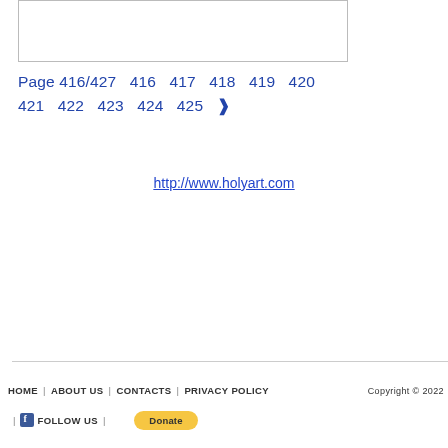[Figure (other): Empty white box with border, representing an image placeholder]
Page 416/427  416  417  418  419  420  421  422  423  424  425  ›
http://www.holyart.com
HOME | ABOUT US | CONTACTS | PRIVACY POLICY | f FOLLOW US | Donate  Copyright © 2022